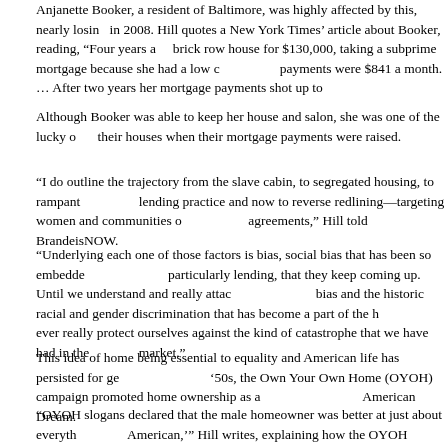Anjanette Booker, a resident of Baltimore, was highly affected by this, nearly losing her home in 2008. Hill quotes a New York Times' article about Booker, reading, "Four years a… brick row house for $130,000, taking a subprime mortgage because she had a low credit… payments were $841 a month. … After two years her mortgage payments shot up to…
Although Booker was able to keep her house and salon, she was one of the lucky ones who lost their houses when their mortgage payments were raised.
"I do outline the trajectory from the slave cabin, to segregated housing, to rampant… lending practice and now to reverse redlining—targeting women and communities of color with predatory agreements," Hill told BrandeisNOW.
"Underlying each one of those factors is bias, social bias that has been so embedded in industries, particularly lending, that they keep coming up. Until we understand and really attack the structural bias and the historic racial and gender discrimination that has become a part of the housing… ever really protect ourselves against the kind of catastrophe that we have had in the housing market."
This idea of home being essential to equality and American life has persisted for generations. In the '50s, the Own Your Own Home (OYOH) campaign promoted home ownership as a central part of the American Dream.
"OYOH slogans declared that the male homeowner was better at just about everything as an American,'" Hill writes, explaining how the OYOH campaign, which promoted home ownership, worked against women. "… the message of OYOH was that by encouraging their husbands… women could be happy and fulfilled, as long as they stayed in those homes and out of the workplace.